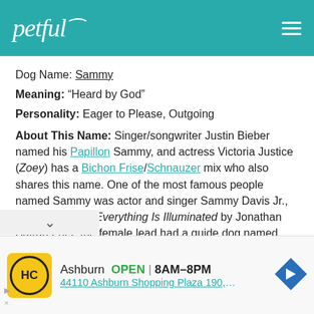petful
Dog Name: Sammy
Meaning: “Heard by God”
Personality: Eager to Please, Outgoing
About This Name: Singer/songwriter Justin Bieber named his Papillon Sammy, and actress Victoria Justice (Zoey) has a Bichon Frise/Schnauzer mix who also shares this name. One of the most famous people named Sammy was actor and singer Sammy Davis Jr., and in the book Everything Is Illuminated by Jonathan Safran Foer, the female lead had a guide dog named Sammy. The TY Company created a beanie baby named Sammy nor baseball player Sammy Sosa. If you grew up reading
[Figure (other): Advertisement banner: HC logo, Ashburn OPEN 8AM-8PM, 44110 Ashburn Shopping Plaza 190, A..., navigation arrow icon]